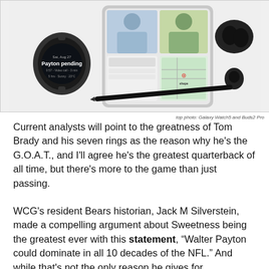[Figure (photo): Samsung Galaxy Watch5 and Buds2 Pro product promotional image showing a smartwatch, a folding phone with video call on screen, earbuds in case, an earbud, and a stylus pen on a light grey background.]
top photo: Galaxy Watch5 and Buds2 Pro
Current analysts will point to the greatness of Tom Brady and his seven rings as the reason why he's the G.O.A.T., and I'll agree he's the greatest quarterback of all time, but there's more to the game than just passing.
WCG's resident Bears historian, Jack M Silverstein, made a compelling argument about Sweetness being the greatest ever with this statement, "Walter Payton could dominate in all 10 decades of the NFL." And while that's not the only reason he gives for categorizing Payton above all others in this subjective debate, it does always seem to come up time and again.